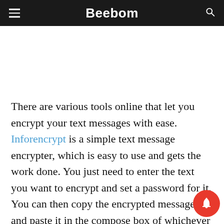Beebom
There are various tools online that let you encrypt your text messages with ease. Inforencrypt is a simple text message encrypter, which is easy to use and gets the work done. You just need to enter the text you want to encrypt and set a password for it. You can then copy the encrypted message and paste it in the compose box of whichever email client you use. The recipient be able to decrypt the email on Infoencrypt's website